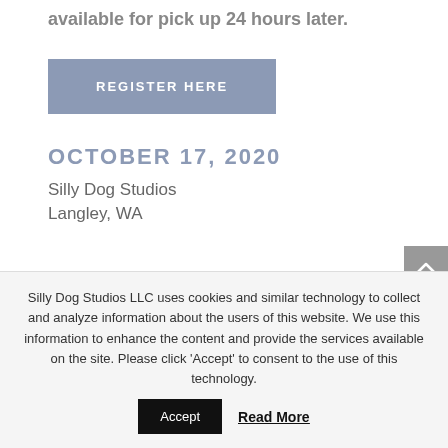available for pick up 24 hours later.
REGISTER HERE
OCTOBER 17, 2020
Silly Dog Studios
Langley, WA
Silly Dog Studios LLC uses cookies and similar technology to collect and analyze information about the users of this website. We use this information to enhance the content and provide the services available on the site. Please click 'Accept' to consent to the use of this technology.
Accept
Read More